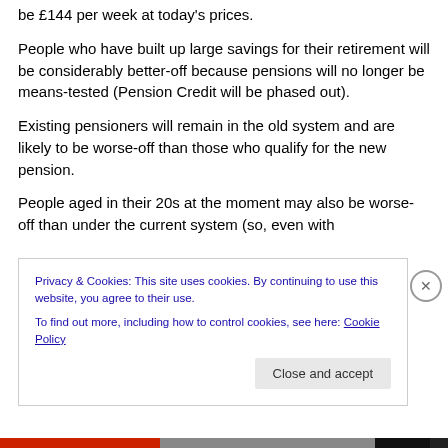be £144 per week at today's prices.
People who have built up large savings for their retirement will be considerably better-off because pensions will no longer be means-tested (Pension Credit will be phased out).
Existing pensioners will remain in the old system and are likely to be worse-off than those who qualify for the new pension.
People aged in their 20s at the moment may also be worse-off than under the current system (so, even with
Privacy & Cookies: This site uses cookies. By continuing to use this website, you agree to their use.
To find out more, including how to control cookies, see here: Cookie Policy